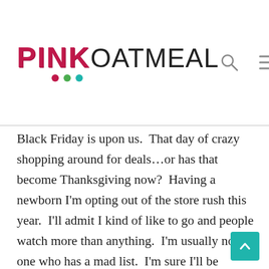PINK OATMEAL
Black Friday is upon us.  That day of crazy shopping around for deals…or has that become Thanksgiving now?  Having a newborn I'm opting out of the store rush this year.  I'll admit I kind of like to go and people watch more than anything.  I'm usually not one who has a mad list.  I'm sure I'll be participating on online sales though this year.  I can't help myself.  One thing I always do try to do when it comes to gifts is make them practical and useful.  I'm lucky to collaborate with a great group of therapist bloggers.  Many of them have put together gift guides that focus on different